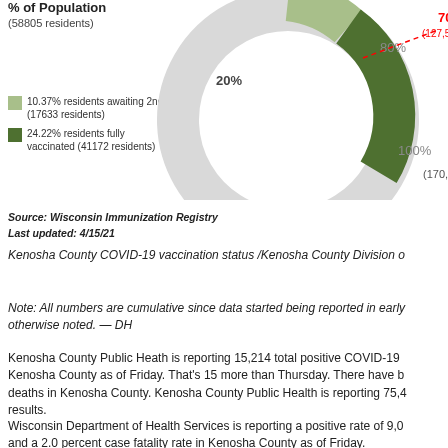[Figure (donut-chart): % of Population (58805 residents)]
10.37% residents awaiting 2nd dose (17633 residents)
24.22% residents fully vaccinated (41172 residents)
Source: Wisconsin Immunization Registry
Last updated: 4/15/21
Kenosha County COVID-19 vaccination status /Kenosha County Division o...
Note: All numbers are cumulative since data started being reported in early... otherwise noted. — DH
Kenosha County Public Heath is reporting 15,214 total positive COVID-19 ... Kenosha County as of Friday. That's 15 more than Thursday. There have b... deaths in Kenosha County. Kenosha County Public Health is reporting 75,4... results.
Wisconsin Department of Health Services is reporting a positive rate of 9,0... and a 2.0 percent case fatality rate in Kenosha County as of Friday.